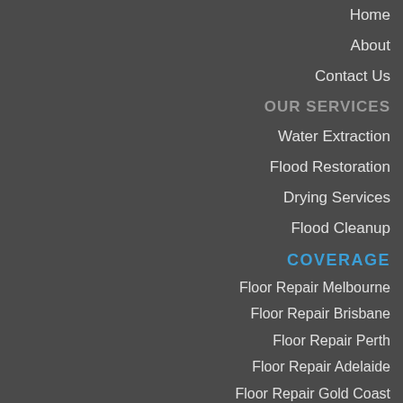Home
About
Contact Us
OUR SERVICES
Water Extraction
Flood Restoration
Drying Services
Flood Cleanup
COVERAGE
Floor Repair Melbourne
Floor Repair Brisbane
Floor Repair Perth
Floor Repair Adelaide
Floor Repair Gold Coast